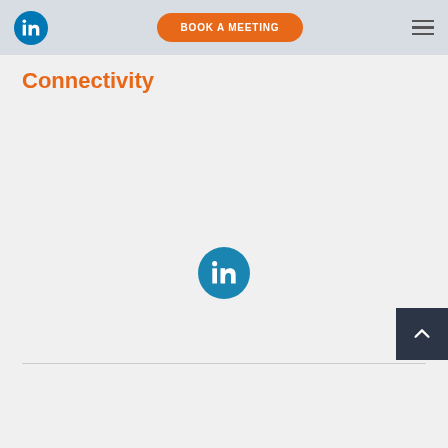LinkedIn icon | BOOK A MEETING | hamburger menu
Connectivity
[Figure (logo): LinkedIn circular logo icon centered on the page]
[Figure (other): Back to top arrow button in dark navy square at bottom right]